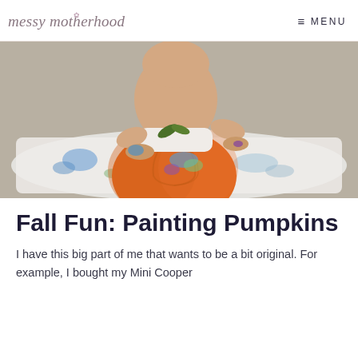messy motherhood  ≡ MENU
[Figure (photo): A toddler wearing only a diaper sitting on the ground with a large orange pumpkin in front of them, hands covered in colorful paint. White paper/sheets are spread out underneath with paint marks on them.]
Fall Fun: Painting Pumpkins
I have this big part of me that wants to be a bit original.  For example, I bought my Mini Cooper